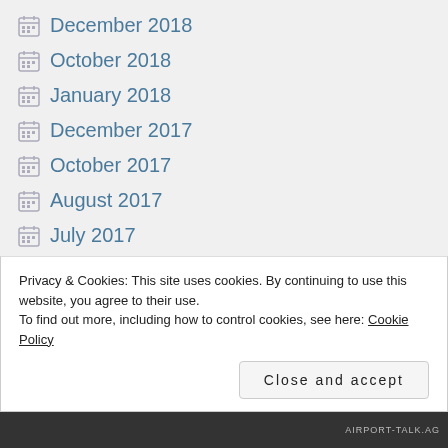December 2018
October 2018
January 2018
December 2017
October 2017
August 2017
July 2017
May 2017
March 2017
Privacy & Cookies: This site uses cookies. By continuing to use this website, you agree to their use.
To find out more, including how to control cookies, see here: Cookie Policy
Close and accept